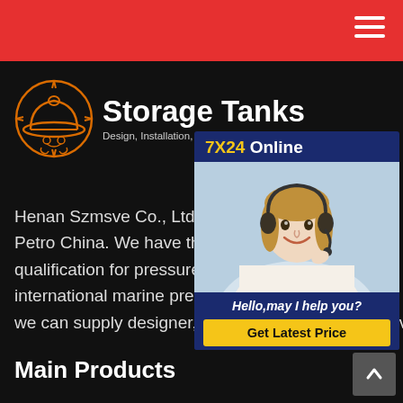Storage Tanks — Design, Installation, Fabrication Service
[Figure (logo): Orange hard-hat / gear logo icon for Storage Tanks company]
Storage Tanks
Design, Installation, Fabrication Service
[Figure (photo): Live chat widget showing woman with headset, '7X24 Online', 'Hello,may I help you?' and 'Get Latest Price' button]
Henan Szmsve Co., Ltd is a member of S... Petro China. We have the design and m... qualification for pressure vessels, includi... international marine pressure vessels o... we can supply designer, fabrication, installation service.
Main Products